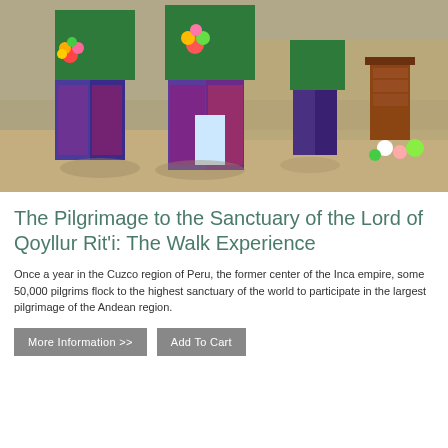[Figure (photo): Performers in colorful traditional Andean costumes with green jackets and patterned trousers holding flowers, dancing at a festival outdoors on a sandy ground with rustic structures in background.]
The Pilgrimage to the Sanctuary of the Lord of Qoyllur Rit'i: The Walk Experience
Once a year in the Cuzco region of Peru, the former center of the Inca empire, some 50,000 pilgrims flock to the highest sanctuary of the world to participate in the largest pilgrimage of the Andean region.
More Information >>   Add To Cart